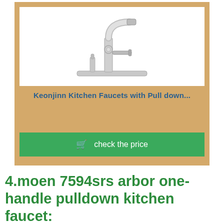[Figure (photo): Product photo of a stainless steel kitchen faucet with pull-down sprayer on a white background]
Keonjinn Kitchen Faucets with Pull down...
check the price
4.moen 7594srs arbor one-handle pulldown kitchen faucet:
The Moen 7594SRS Arbor One-Handle